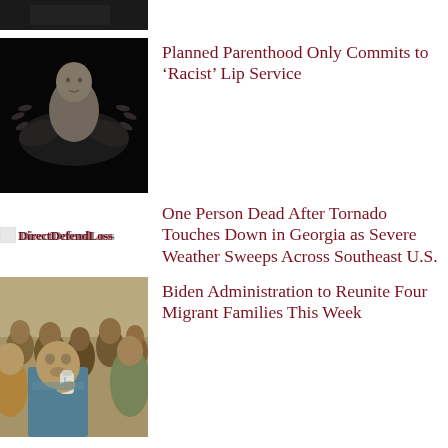[Figure (photo): Partial top of a news article image, dark/black]
[Figure (photo): Black and white photo of a newborn baby cradled in adult hands]
Planned Parenthood Only Commits to ‘Racist’ Lip Service
[Figure (logo): News outlet logo with overlapping text]
One Person Dead After Tornado Touches Down in Georgia as Severe Weather Sweeps Across Southeast U.S.
[Figure (photo): Photo of migrant children and adults, a child drinking from a bottle]
Biden Administration to Reunite Four Migrant Families This Week